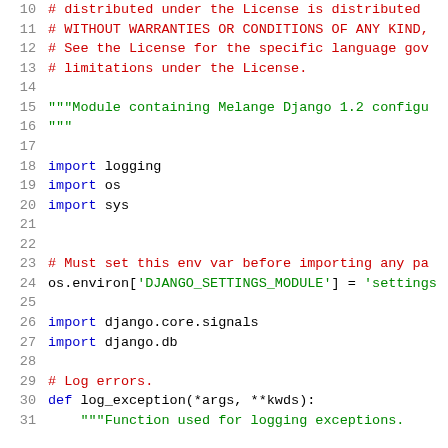Code listing lines 10-31: Python source file with license header, module docstring, imports, and function definition
10  # distributed under the License is distributed
11  # WITHOUT WARRANTIES OR CONDITIONS OF ANY KIND,
12  # See the License for the specific language gov
13  # limitations under the License.
14
15  """Module containing Melange Django 1.2 configu
16  """
17
18  import logging
19  import os
20  import sys
21
22
23  # Must set this env var before importing any pa
24  os.environ['DJANGO_SETTINGS_MODULE'] = 'settings
25
26  import django.core.signals
27  import django.db
28
29  # Log errors.
30  def log_exception(*args, **kwds):
31      """Function used for logging exceptions.